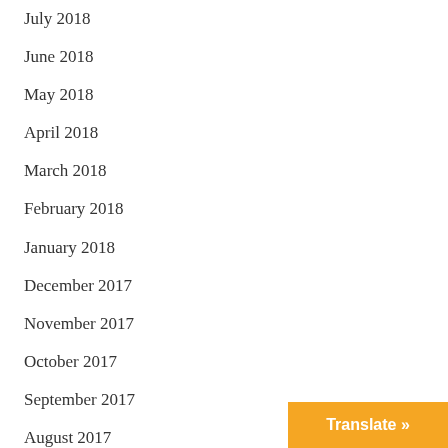July 2018
June 2018
May 2018
April 2018
March 2018
February 2018
January 2018
December 2017
November 2017
October 2017
September 2017
August 2017
July 2017
June 2017
May 2017
April 2017
Translate »